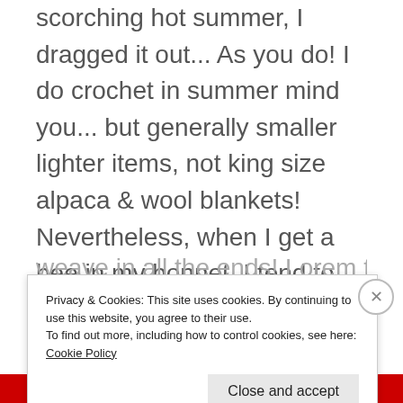scorching hot summer, I dragged it out... As you do! I do crochet in summer mind you... but generally smaller lighter items, not king size alpaca & wool blankets! Nevertheless, when I get a bee in my bonnet, I tend to ignore common sense... Not only did it take ages to join the squares together, it took forever – ok slight exaggeration – a very long time, to weave in all the ends! (some that is a crochet
Privacy & Cookies: This site uses cookies. By continuing to use this website, you agree to their use.
To find out more, including how to control cookies, see here: Cookie Policy
Close and accept